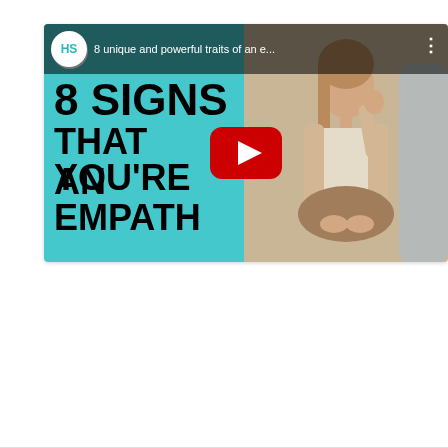[Figure (screenshot): YouTube video thumbnail showing '8 SIGNS THAT YOU'RE AN EMPATH' with teal left panel and photo of woman listening on right. Channel logo 'HS' in top left circle. Title bar reads '8 unique and powerful traits of an e...' A red YouTube play button overlay is centered on the thumbnail.]